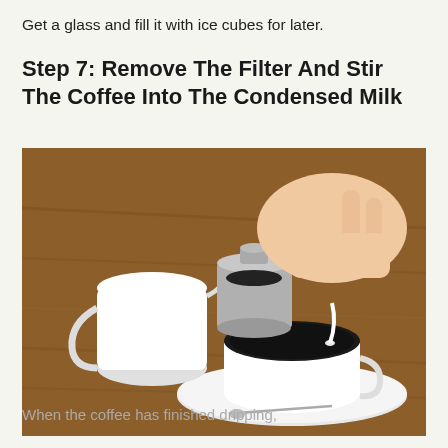Get a glass and fill it with ice cubes for later.
Step 7: Remove The Filter And Stir The Coffee Into The Condensed Milk
[Figure (photo): A hand removing a Vietnamese coffee filter (phin) from a white cup filled with dark coffee. A white ceramic creamer/milk pitcher sits to the left. The cup is on a white saucer with a spoon. Items are on a brown wooden table surface.]
When the coffee has finished dripping,